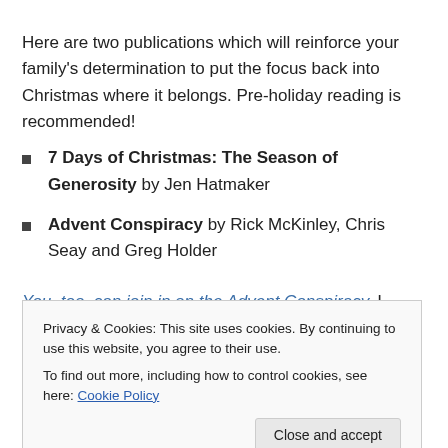Here are two publications which will reinforce your family's determination to put the focus back into Christmas where it belongs. Pre-holiday reading is recommended!
7 Days of Christmas: The Season of Generosity by Jen Hatmaker
Advent Conspiracy by Rick McKinley, Chris Seay and Greg Holder
You, too, can join in on the Advent Conspiracy. I have! I'm
Privacy & Cookies: This site uses cookies. By continuing to use this website, you agree to their use. To find out more, including how to control cookies, see here: Cookie Policy
genres of books that can make a world of difference to